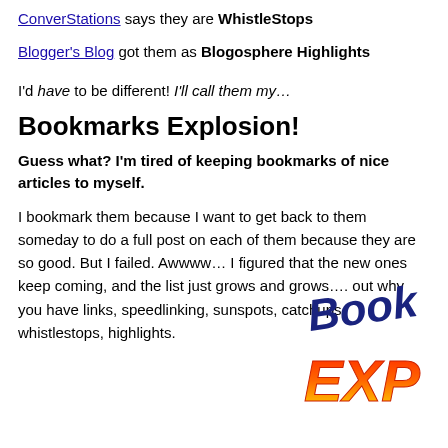ConverStations says they are WhistleStops
Blogger's Blog got them as Blogosphere Highlights
I'd have to be different! I'll call them my…
Bookmarks Explosion!
Guess what? I'm tired of keeping bookmarks of nice articles to myself.
[Figure (logo): Bookmarks Explosion logo with stylized text in blue and red/yellow/orange gradient]
I bookmark them because I want to get back to them someday to do a full post on each of them because they are so good. But I failed. Awwww… I figured that the new ones keep coming, and the list just grows and grows…. out why you have links, speedlinking, sunspots, catchups, whistlestops, highlights.